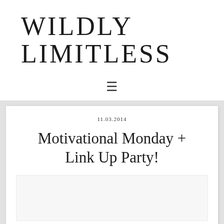WILDLY LIMITLESS
[Figure (infographic): Hamburger menu icon (three horizontal lines)]
11.03.2014
Motivational Monday + Link Up Party!